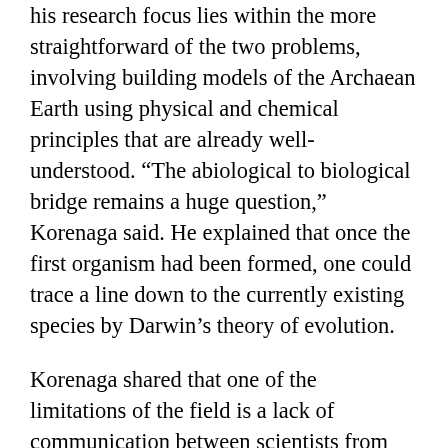his research focus lies within the more straightforward of the two problems, involving building models of the Archaean Earth using physical and chemical principles that are already well-understood. “The abiological to biological bridge remains a huge question,” Korenaga said. He explained that once the first organism had been formed, one could trace a line down to the currently existing species by Darwin’s theory of evolution.
Korenaga shared that one of the limitations of the field is a lack of communication between scientists from the geological and chemical disciplines. “As science matures, people start to specialize in a very narrow discipline,” he said. “Many of the people working on the origin of life problem are not very aware of our contemporary understanding of geology,” he said. He plans to continue refining the